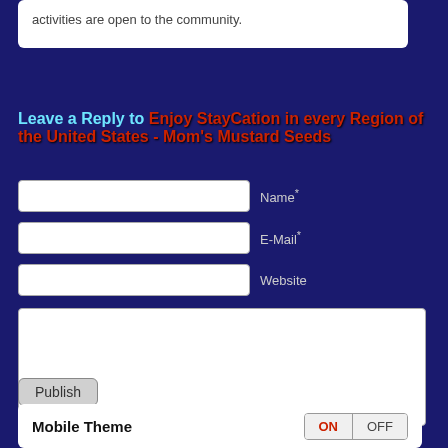activities are open to the community.
Leave a Reply to Enjoy StayCation in every Region of the United States - Mom's Mustard Seeds
Name* E-Mail* Website [form fields]
Publish
Mobile Theme ON OFF